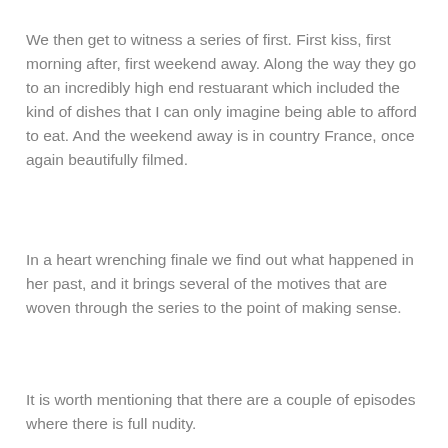We then get to witness a series of first. First kiss, first morning after, first weekend away. Along the way they go to an incredibly high end restuarant which included the kind of dishes that I can only imagine being able to afford to eat. And the weekend away is in country France, once again beautifully filmed.
In a heart wrenching finale we find out what happened in her past, and it brings several of the motives that are woven through the series to the point of making sense.
It is worth mentioning that there are a couple of episodes where there is full nudity.